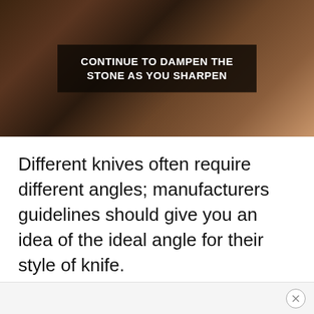[Figure (screenshot): Screenshot of a video showing hands sharpening a knife on a whetstone, with a dark overlay text box reading 'CONTINUE TO DAMPEN THE STONE AS YOU SHARPEN']
Different knives often require different angles; manufacturers guidelines should give you an idea of the ideal angle for their style of knife.